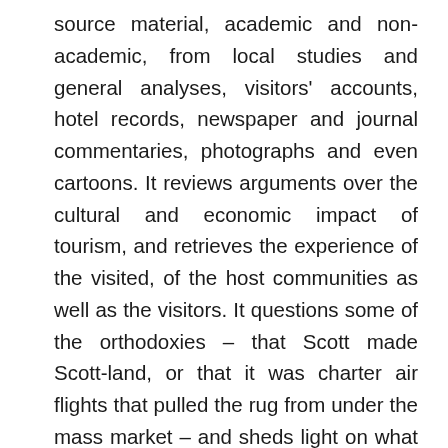source material, academic and non-academic, from local studies and general analyses, visitors' accounts, hotel records, newspaper and journal commentaries, photographs and even cartoons. It reviews arguments over the cultural and economic impact of tourism, and retrieves the experience of the visited, of the host communities as well as the visitors. It questions some of the orthodoxies – that Scott made Scott-land, or that it was charter air flights that pulled the rug from under the mass market – and sheds light on what in the Scottish package appealed, and what did not, and to whom; how provision changed, or failed to change; and what marketing strategies may have achieved. It charts changes in accommodation, from inn to hotel, holiday